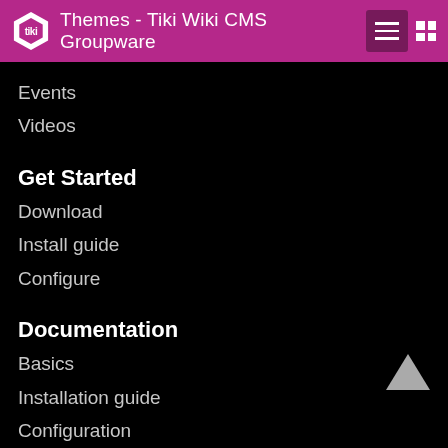Themes - Tiki Wiki CMS Groupware
Events
Videos
Get Started
Download
Install guide
Configure
Documentation
Basics
Installation guide
Configuration
Features
Tutorials
Tiki for Smarties
Become an author
Development